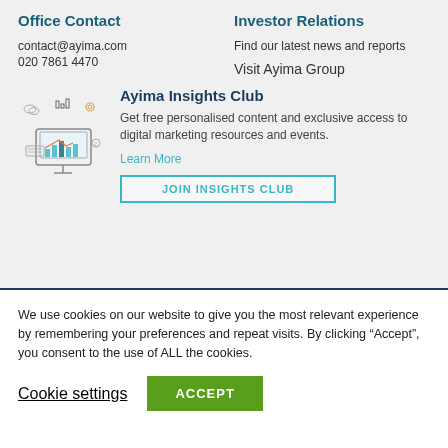Office Contact
contact@ayima.com
020 7861 4470
Investor Relations
Find our latest news and reports
Visit Ayima Group
[Figure (illustration): Line-art illustration of a computer monitor with analytics charts, surrounded by small icons representing digital marketing concepts.]
Ayima Insights Club
Get free personalised content and exclusive access to digital marketing resources and events.
Learn More
JOIN INSIGHTS CLUB
We use cookies on our website to give you the most relevant experience by remembering your preferences and repeat visits. By clicking “Accept”, you consent to the use of ALL the cookies.
Cookie settings
ACCEPT